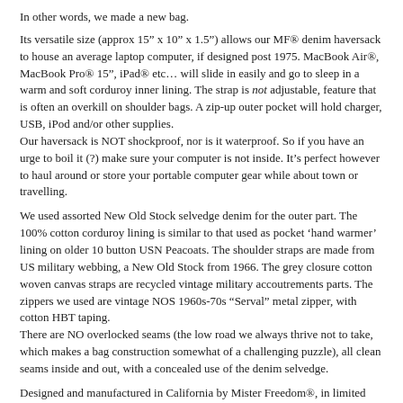In other words, we made a new bag.
Its versatile size (approx 15” x 10” x 1.5”) allows our MF® denim haversack to house an average laptop computer, if designed post 1975. MacBook Air®, MacBook Pro® 15”, iPad® etc… will slide in easily and go to sleep in a warm and soft corduroy inner lining. The strap is not adjustable, feature that is often an overkill on shoulder bags. A zip-up outer pocket will hold charger, USB, iPod and/or other supplies.
Our haversack is NOT shockproof, nor is it waterproof. So if you have an urge to boil it (?) make sure your computer is not inside. It’s perfect however to haul around or store your portable computer gear while about town or travelling.
We used assorted New Old Stock selvedge denim for the outer part. The 100% cotton corduroy lining is similar to that used as pocket ‘hand warmer’ lining on older 10 button USN Peacoats. The shoulder straps are made from US military webbing, a New Old Stock from 1966. The grey closure cotton woven canvas straps are recycled vintage military accoutrements parts. The zippers we used are vintage NOS 1960s-70s “Serval” metal zipper, with cotton HBT taping.
There are NO overlocked seams (the low road we always thrive not to take, which makes a bag construction somewhat of a challenging puzzle), all clean seams inside and out, with a concealed use of the denim selvedge.
Designed and manufactured in California by Mister Freedom®, in limited quantities, until NOS supplies last.
SPECS
PATTERN: An original Mister Freedom® pattern, inspired by early French military WW1 musettes, ‘bread pouches’, and other military personal effect haversacks.
FABRIC:
* Outer: NOS selvedge indigo denim, assorted origins (USA and Japan), about 12.5 Oz.